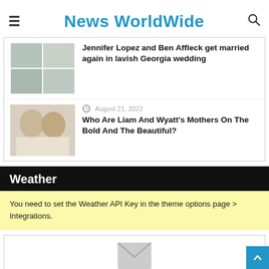News WorldWide
Duplex – Entities in Canada
[Figure (photo): Aerial view photo collage with multiple images]
Jennifer Lopez and Ben Affleck get married again in lavish Georgia wedding
[Figure (photo): Two men in suits smiling]
August 21, 2022
Who Are Liam And Wyatt's Mothers On The Bold And The Beautiful?
Weather
You need to set the Weather API Key in the theme options page > Integrations.
[Figure (illustration): Email envelope icon]